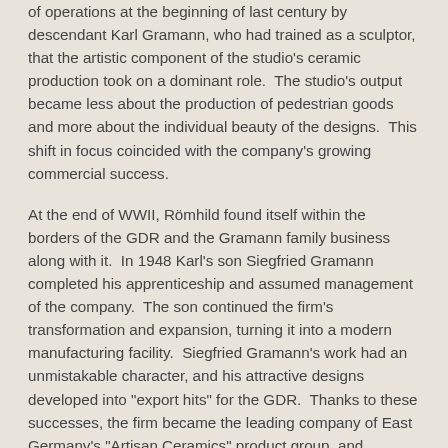of operations at the beginning of last century by descendant Karl Gramann, who had trained as a sculptor, that the artistic component of the studio's ceramic production took on a dominant role.  The studio's output became less about the production of pedestrian goods and more about the individual beauty of the designs.  This shift in focus coincided with the company's growing commercial success.
At the end of WWII, Römhild found itself within the borders of the GDR and the Gramann family business along with it.  In 1948 Karl's son Siegfried Gramann completed his apprenticeship and assumed management of the company.  The son continued the firm's transformation and expansion, turning it into a modern manufacturing facility.  Siegfried Gramann's work had an unmistakable character, and his attractive designs developed into "export hits" for the GDR.  Thanks to these successes, the firm became the leading company of East Germany's "Artisan Ceramics" product group, and Römhild achieved a level of fame throughout the country from its products.  The use of the latest production techniques, the great innovation among its employees, and the artistry and leadership of Siegfried Gramann assured the company's prosperity.  TÖPERHOF GRAMANN earned the distinction of being Europe's largest hand-turned pottery company, with 60 freehand turners and a like number of ceramic